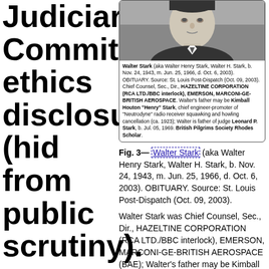Judiciary Committee ethics disclosures (hid from public scrutiny).
Walter Stark was
[Figure (photo): Black and white portrait photo of Walter Stark, a man in a suit, with obituary caption text below the photo inside a rounded-corner box.]
Fig. 3— Walter Stark (aka Walter Henry Stark, Walter H. Stark, b. Nov. 24, 1943, m. Jun. 25, 1966, d. Oct. 6, 2003). OBITUARY. Source: St. Louis Post-Dispatch (Oct. 09, 2003).
Walter Stark was Chief Counsel, Sec., Dir., HAZELTINE CORPORATION (RCA LTD./BBC interlock), EMERSON, MARCONI-GE-BRITISH AEROSPACE (BAE); Walter's father may be Kimball Houton "Henry" Stark, chief engineer-promoter of "Neutrodyne" radio receiver squawking and howling cancellation (ca. 1923);